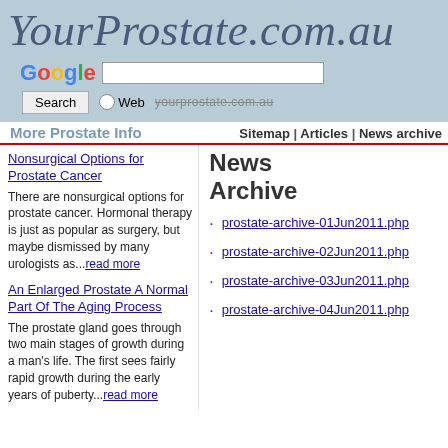YourProstate.com.au
[Figure (screenshot): Google search bar with Search button, Web radio option, and yourprostate.com.au site search option]
More Prostate Info | Sitemap | Articles | News archive
News Archive
Nonsurgical Options for Prostate Cancer
There are nonsurgical options for prostate cancer. Hormonal therapy is just as popular as surgery, but maybe dismissed by many urologists as...read more
An Enlarged Prostate A Normal Part Of The Aging Process
The prostate gland goes through two main stages of growth during a man's life. The first sees fairly rapid growth during the early years of puberty...read more
prostate-archive-01Jun2011.php
prostate-archive-02Jun2011.php
prostate-archive-03Jun2011.php
prostate-archive-04Jun2011.php